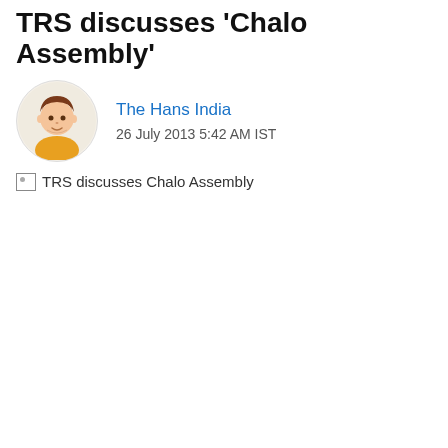TRS discusses 'Chalo Assembly'
The Hans India
26 July 2013 5:42 AM IST
[Figure (photo): Broken image placeholder with alt text: TRS discusses Chalo Assembly]